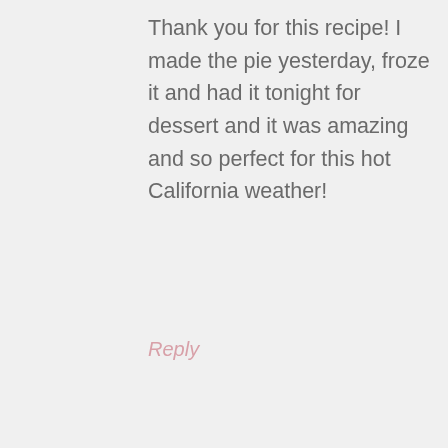Thank you for this recipe! I made the pie yesterday, froze it and had it tonight for dessert and it was amazing and so perfect for this hot California weather!
Reply
[Figure (illustration): Accessibility icon — blue circle with white outline of a human figure with arms outstretched]
thedomesticrebel says
August 16, 2015 at 9:48 am
I'm so glad you enjoyed it, Donna!!